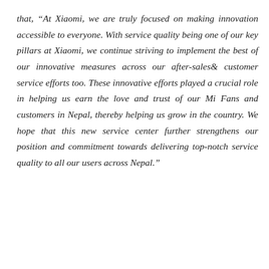that, “At Xiaomi, we are truly focused on making innovation accessible to everyone. With service quality being one of our key pillars at Xiaomi, we continue striving to implement the best of our innovative measures across our after-sales& customer service efforts too. These innovative efforts played a crucial role in helping us earn the love and trust of our Mi Fans and customers in Nepal, thereby helping us grow in the country. We hope that this new service center further strengthens our position and commitment towards delivering top-notch service quality to all our users across Nepal.”